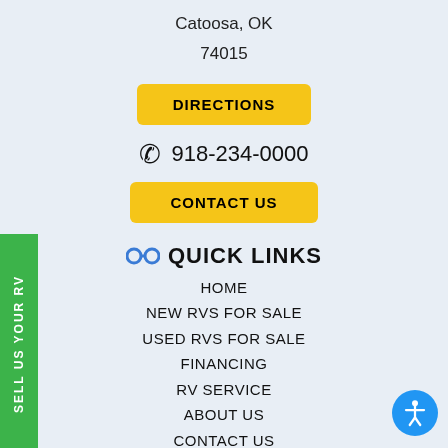Catoosa, OK
74015
DIRECTIONS
918-234-0000
CONTACT US
QUICK LINKS
HOME
NEW RVS FOR SALE
USED RVS FOR SALE
FINANCING
RV SERVICE
ABOUT US
CONTACT US
WE BUY RVS